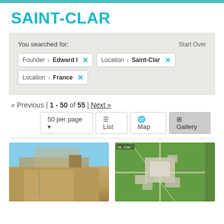SAINT-CLAR
You searched for:
Start Over
Founder › Edward I ×
Location › Saint-Clar ×
Location › France ×
« Previous | 1 - 50 of 55 | Next »
50 per page ▾
≡ List
🌐 Map
⊞ Gallery
[Figure (photo): Photograph of a stone building with a blue sky background]
[Figure (map): Aerial/satellite map view of Saint-Clar labeled 'St. Clar']